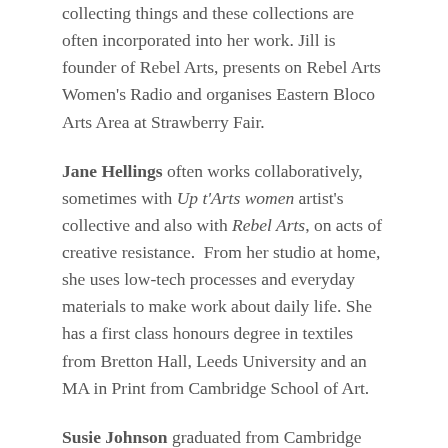collecting things and these collections are often incorporated into her work. Jill is founder of Rebel Arts, presents on Rebel Arts Women's Radio and organises Eastern Bloco Arts Area at Strawberry Fair.
Jane Hellings often works collaboratively, sometimes with Up t'Arts women artist's collective and also with Rebel Arts, on acts of creative resistance. From her studio at home, she uses low-tech processes and everyday materials to make work about daily life. She has a first class honours degree in textiles from Bretton Hall, Leeds University and an MA in Print from Cambridge School of Art.
Susie Johnson graduated from Cambridge School of Art with a first class honours degree in fine art. From her studio at Cambridge Artworks she creates clever, quirky